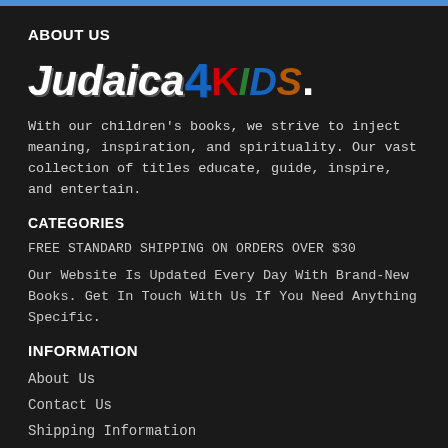ABOUT US
[Figure (logo): Judaica4KIDS. logo with stylized colorful lettering on dark background]
With our children’s books, we strive to inject meaning, inspiration, and spirituality. Our vast collection of titles educate, guide, inspire, and entertain.
CATEGORIES
FREE STANDARD SHIPPING ON ORDERS OVER $30
Our Website Is Updated Every Day With Brand-New Books. Get In Touch With Us If You Need Anything Specific.
INFORMATION
About Us
Contact Us
Shipping Information